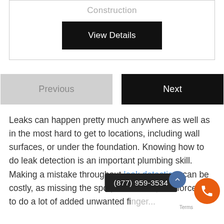Construction
[Figure (screenshot): Black 'View Details' button]
[Figure (screenshot): Navigation buttons: grey 'Previous' and black 'Next']
Leaks can happen pretty much anywhere as well as in the most hard to get to locations, including wall surfaces, or under the foundation. Knowing how to do leak detection is an important plumbing skill. Making a mistake throughout leak detection, can be costly, as missing the spot, even once, can force you to do a lot of added unwanted fi...